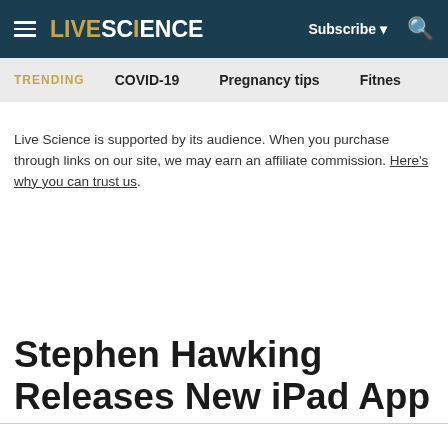LIVESCIENCE — Subscribe — Search
TRENDING   COVID-19   Pregnancy tips   Fitnes
Live Science is supported by its audience. When you purchase through links on our site, we may earn an affiliate commission. Here's why you can trust us.
Stephen Hawking Releases New iPad App